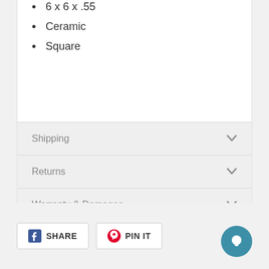6 x 6 x .55
Ceramic
Square
Shipping
Returns
Warranty & Damages
Reviews
SHARE
PIN IT